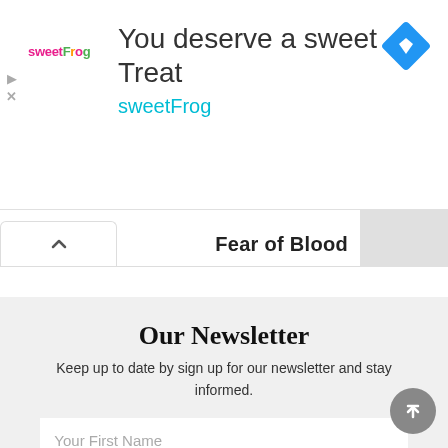[Figure (screenshot): sweetFrog advertisement banner with logo, text 'You deserve a sweet Treat', 'sweetFrog', and a blue diamond navigation icon]
Fear of Blood
Our Newsletter
Keep up to date by sign up for our newsletter and stay informed.
Your First Name
Your Email